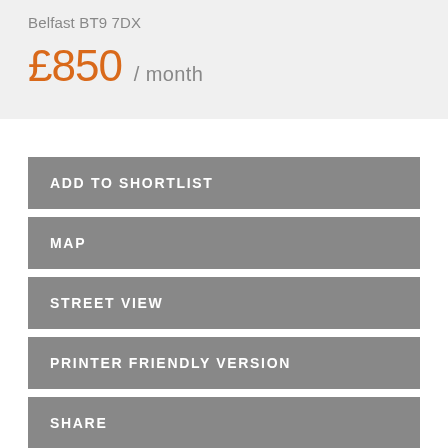Belfast BT9 7DX
£850 / month
ADD TO SHORTLIST
MAP
STREET VIEW
PRINTER FRIENDLY VERSION
SHARE
MAKE ENQUIRY